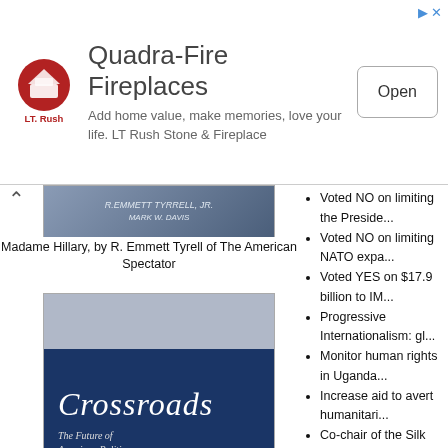[Figure (other): Advertisement banner for LT Rush Stone & Fireplace (Quadra-Fire Fireplaces) with logo, text, and Open button]
[Figure (illustration): Book cover: Madame Hillary by R. Emmett Tyrell]
Madame Hillary, by R. Emmett Tyrell of The American Spectator
[Figure (illustration): Book cover: Crossroads: The Future of American Politics, by Andrew Cuomo]
Crossroads: The Future of American Politics, by Andrew Cuomo
[Figure (illustration): Book cover: Nine and Counting: The Women of the Senate]
Voted NO on limiting the Preside...
Voted NO on limiting NATO expa...
Voted YES on $17.9 billion to IM...
Progressive Internationalism: gl...
Monitor human rights in Uganda...
Increase aid to avert humanitari...
Co-chair of the Silk Road Congr...
Remove African National Congr...
Rated 0 by AAI, indicating a mix...
Vigorous support for State of Isr...
Allow travel between the United...
Afghan laws violate women's hu...
Pressure friendly Arab states to...
[Figure (other): Red Mary banner with star icon]
Click here for 18 full quotes on Free...
Kill secret deal to import Mexica...
Voted YES on promoting free tra...
Voted YES on free trade agreem...
Voted NO on implementing CAF...
Voted YES on establishing free...